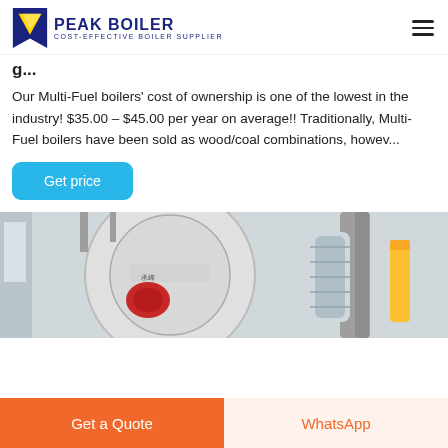PEAK BOILER COST-EFFECTIVE BOILER SUPPLIER
Our Multi-Fuel boilers' cost of ownership is one of the lowest in the industry! $35.00 – $45.00 per year on average!! Traditionally, Multi-Fuel boilers have been sold as wood/coal combinations, howev...
[Figure (screenshot): Get price button - blue rounded rectangle button with white text]
[Figure (photo): Industrial boiler equipment in a factory setting, showing large cylindrical boiler and piping systems]
Get a Quote
WhatsApp